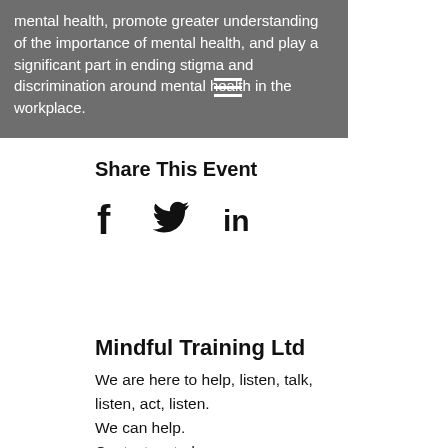mental health, promote greater understanding of the importance of mental health, and play a significant part in ending stigma and discrimination around mental health in the workplace.
Share This Event
[Figure (infographic): Social media share icons: Facebook (f), Twitter (bird), LinkedIn (in)]
Mindful Training Ltd
We are here to help, listen, talk, listen, act, listen.
We can help.
Contact us today